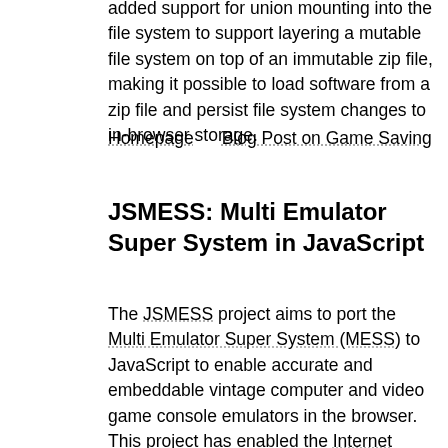added support for union mounting into the file system to support layering a mutable file system on top of an immutable zip file, making it possible to load software from a zip file and persist file system changes to in-browser storage.
Homepage   Blog Post on Game Saving
JSMESS: Multi Emulator Super System in JavaScript
The JSMESS project aims to port the Multi Emulator Super System (MESS) to JavaScript to enable accurate and embeddable vintage computer and video game console emulators in the browser. This project has enabled the Internet Archive to provide its visitors with interactive demos of vintage and historical software for educational purposes. JSMESS uses Emscripten along with tweaks to the